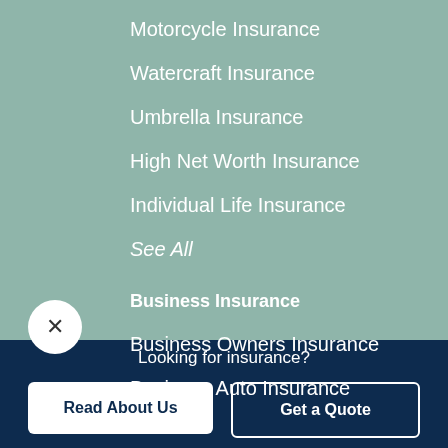Motorcycle Insurance
Watercraft Insurance
Umbrella Insurance
High Net Worth Insurance
Individual Life Insurance
See All
Business Insurance
Business Owners Insurance
Business Auto Insurance
Looking for insurance?
Read About Us
Get a Quote